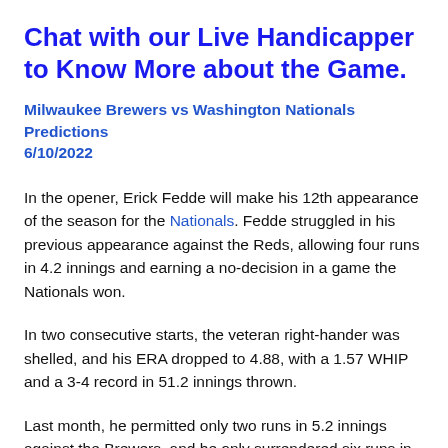Chat with our Live Handicapper to Know More about the Game.
Milwaukee Brewers vs Washington Nationals Predictions 6/10/2022
In the opener, Erick Fedde will make his 12th appearance of the season for the Nationals. Fedde struggled in his previous appearance against the Reds, allowing four runs in 4.2 innings and earning a no-decision in a game the Nationals won.
In two consecutive starts, the veteran right-hander was shelled, and his ERA dropped to 4.88, with a 1.57 WHIP and a 3-4 record in 51.2 innings thrown.
Last month, he permitted only two runs in 5.2 innings against the Brewers, and he only surrendered six runs in